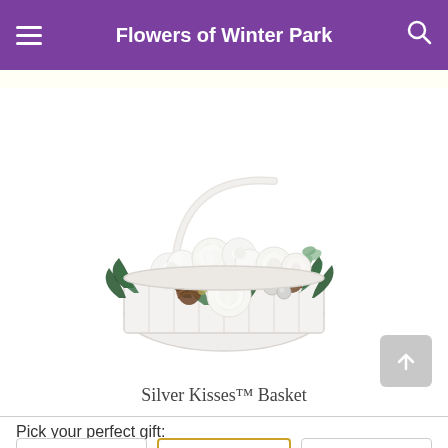Flowers of Winter Park
[Figure (photo): A white basket flower arrangement featuring white roses, white carnations, pine cones, silver ornament balls, green pine branches and eucalyptus, with a white arched handle on the basket.]
Silver Kisses™ Basket
Pick your perfect gift: